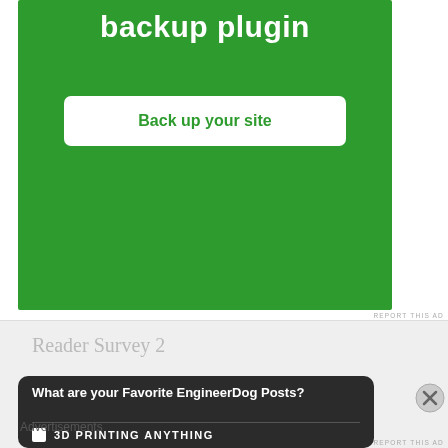[Figure (screenshot): Green advertisement banner with bold white text 'backup plugin' and a white button labeled 'Back up your site' in green text]
REPORT THIS AD
Reader Survey 2
[Figure (screenshot): Dark rounded box with white bold text reading 'What are your Favorite EngineerDog Posts?' and a checkbox row with '3D PRINTING ANYTHING']
Advertisements
REPORT THIS AD